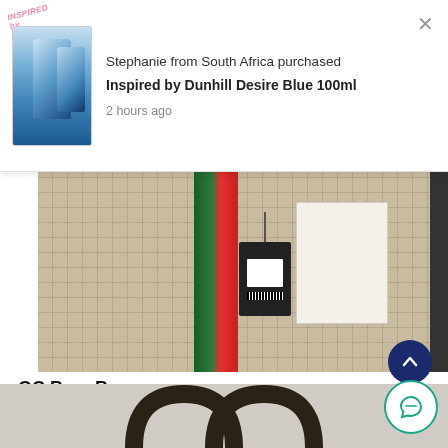[Figure (screenshot): Purchase notification popup showing a blue perfume bottle product image, text 'Stephanie from South Africa purchased Inspired by Dunhill Desire Blue 100ml', timestamp '2 hours ago', and a close (×) button.]
[Figure (photo): Photo of a GC (Gucci-style) brown monogram bag with green and red stripe, a black hang tag, a white paper tag, and a strap on the right.]
GC Bag -Brown
R 1,400.00
[Figure (photo): Partial view of the bottom of the page showing two dark arch/handle shapes of another bag on a light background.]